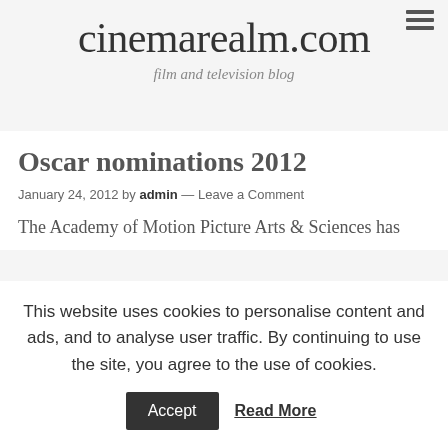cinemarealm.com
film and television blog
Oscar nominations 2012
January 24, 2012 by admin — Leave a Comment
The Academy of Motion Picture Arts & Sciences has
This website uses cookies to personalise content and ads, and to analyse user traffic. By continuing to use the site, you agree to the use of cookies. Accept Read More